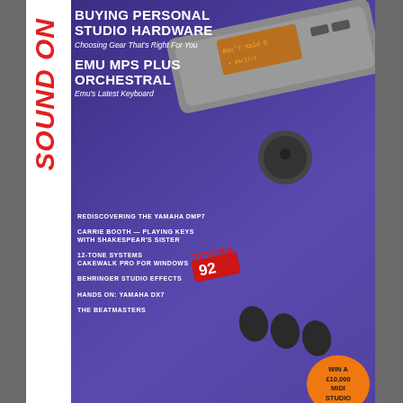[Figure (illustration): Magazine cover of Sound On Sound, December 1992 issue. Purple/blue background showing audio hardware (Zoom device). Cover includes article titles: Buying Personal Studio Hardware, EMU MPS Plus Orchestral, and various smaller items. Price £1.90. A circular orange badge reads WIN A £10,000 MIDI STUDIO.]
Sound On Sound - Dec 1992
> Article Feedback / Cite
Topic:
Synthesis & Sound Design